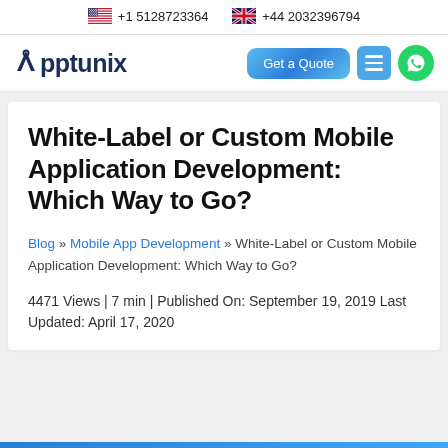+1 5128723364   +44 2032396794
[Figure (logo): Apptunix logo with navigation buttons: Get a Quote, hamburger menu, WhatsApp]
White-Label or Custom Mobile Application Development: Which Way to Go?
Blog » Mobile App Development » White-Label or Custom Mobile Application Development: Which Way to Go?
4471 Views | 7 min | Published On: September 19, 2019 Last Updated: April 17, 2020